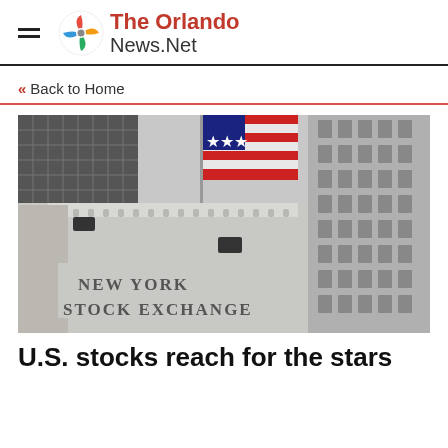The Orlando News.Net
« Back to Home
[Figure (photo): Black and white photo of the New York Stock Exchange building facade with an American flag and ornate stone architecture.]
U.S. stocks reach for the stars